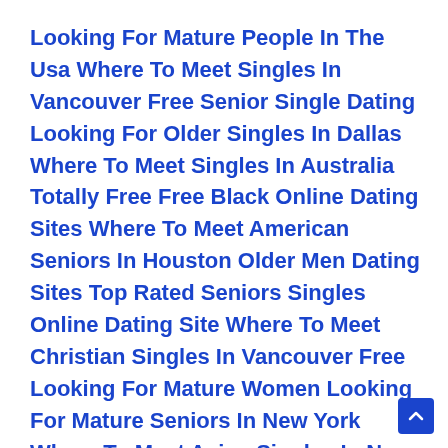Looking For Mature People In The Usa Where To Meet Singles In Vancouver Free Senior Single Dating Looking For Older Singles In Dallas Where To Meet Singles In Australia Totally Free Free Black Online Dating Sites Where To Meet American Seniors In Houston Older Men Dating Sites Top Rated Seniors Singles Online Dating Site Where To Meet Christian Singles In Vancouver Free Looking For Mature Women Looking For Mature Seniors In New York Where To Meet Asian Singles In New Jersey Where To Meet Christian Seniors In Orlando Where To Meet Japanese Singles In Houston Free Looking For Mature People In The Usa Free Mature Hookup Sites Best Senior Online Dating